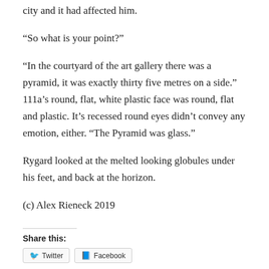city and it had affected him.
“So what is your point?”
“In the courtyard of the art gallery there was a pyramid, it was exactly thirty five metres on a side.” 111a’s round, flat, white plastic face was round, flat and plastic. It’s recessed round eyes didn’t convey any emotion, either. “The Pyramid was glass.”
Rygard looked at the melted looking globules under his feet, and back at the horizon.
(c) Alex Rieneck 2019
Share this: